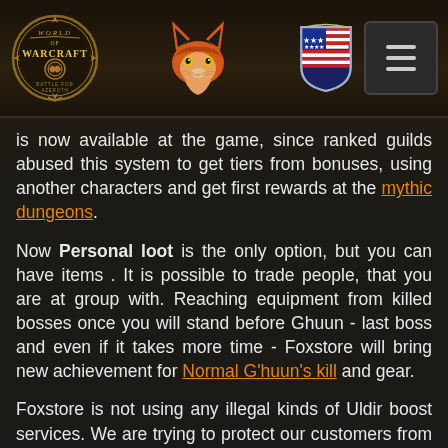World of Warcraft / Foxstore header with logo, fox icon, US flag shield, and menu button
is now available at the game, since ranked guilds abused this system to get tiers from bonuses, using another characters and get first rewards at the mythic dungeons.
Now Personal loot is the only option, but you can have items . It is possible to trade people, that you are at group with. Reaching equipment from killed bosses once you will stand before Ghuun - last boss and even if it takes more time - Foxstore will bring new achievement for Normal G'huun's kill and gear.
Foxstore is not using any illegal kinds of Uldir boost services. We are trying to protect our customers from any risks and make it the safest. Security - is the main part of every product, in addition with good ETA, bonuses and all another paragraphs - it is surely the best boosting service on the market.